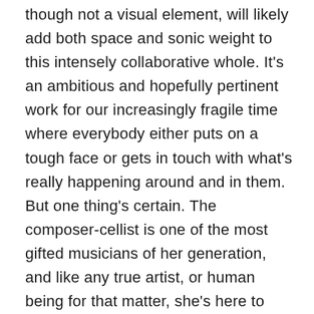though not a visual element, will likely add both space and sonic weight to this intensely collaborative whole. It's an ambitious and hopefully pertinent work for our increasingly fragile time where everybody either puts on a tough face or gets in touch with what's really happening around and in them. But one thing's certain. The composer-cellist is one of the most gifted musicians of her generation, and like any true artist, or human being for that matter, she's here to learn. She put it this way in a firming up e-mail regarding her time with the great French cellist Pierre Fournier who was renowned for the elegance and depth of his playing. " Working with Fournier was a great transition from being a student to becoming a professional musician.My lessons were very